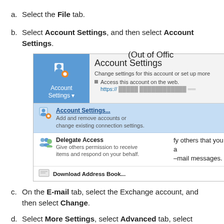a. Select the File tab.
b. Select Account Settings, and then select Account Settings.
[Figure (screenshot): Screenshot of Microsoft Outlook showing Account Settings menu with dropdown options: Account Settings..., Delegate Access, Download Address Book...]
c. On the E-mail tab, select the Exchange account, and then select Change.
d. Select More Settings, select Advanced tab, select